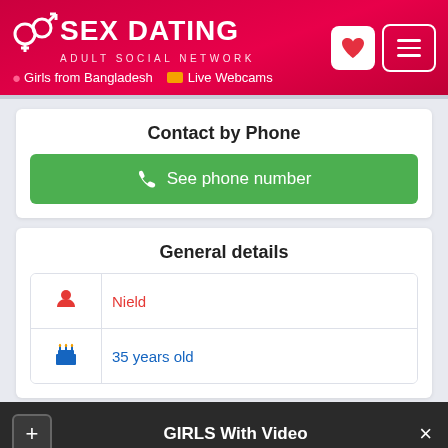SEX DATING ADULT SOCIAL NETWORK — Girls from Bangladesh | Live Webcams
Contact by Phone
See phone number
General details
| Icon | Value |
| --- | --- |
| person icon | Nield |
| birthday icon | 35 years old |
GIRLS With Video
SHOW ME